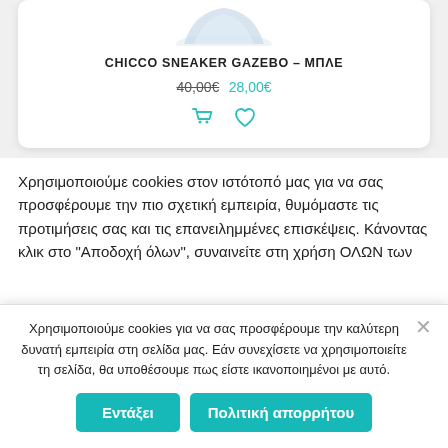[Figure (photo): Partial product image of a sneaker shoe (top portion visible, light blue/grey color)]
CHICCO SNEAKER GAZEBO – ΜΠΛΕ
40,00€  28,00€ (strikethrough on old price, cart and wishlist icons)
Χρησιμοποιούμε cookies στον ιστότοπό μας για να σας προσφέρουμε την πιο σχετική εμπειρία, θυμόμαστε τις προτιμήσεις σας και τις επανειλημμένες επισκέψεις. Κάνοντας κλικ στο "Αποδοχή όλων", συναινείτε στη χρήση ΟΛΩΝ των
Χρησιμοποιούμε cookies για να σας προσφέρουμε την καλύτερη δυνατή εμπειρία στη σελίδα μας. Εάν συνεχίσετε να χρησιμοποιείτε τη σελίδα, θα υποθέσουμε πως είστε ικανοποιημένοι με αυτό.
Εντάξει   Πολιτική απορρήτου